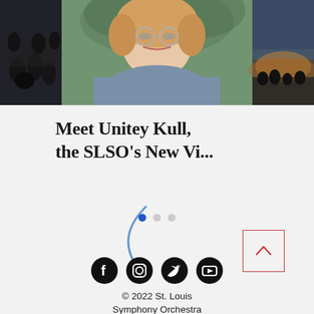[Figure (photo): Three-panel photo strip: left panel shows orchestra musicians in dark formal wear; center panel shows a smiling blonde woman with glasses wearing a blue-grey blazer against green foliage background; right panel shows an outdoor evening concert scene with warm glow.]
Meet Unitey Kull, the SLSO's New Vi...
[Figure (other): Carousel pagination indicator with three dots: first dot filled blue (active), second and third dots light grey.]
[Figure (other): Decorative blue partial circle arc on the left side.]
[Figure (other): Red-outlined square button with upward-pointing caret (scroll to top button).]
[Figure (other): Row of four social media icons in black circles: Facebook, Instagram, Twitter, YouTube.]
© 2022 St. Louis Symphony Orchestra